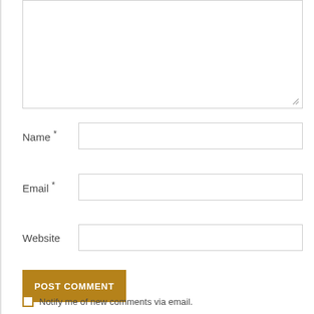(comment textarea)
Name *
Email *
Website
POST COMMENT
Notify me of new comments via email.